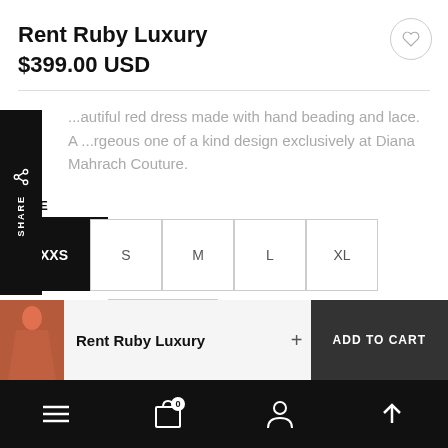Rent Ruby Luxury
$399.00 USD
...autiful red dress made with hand beading and lace. A ...rgeous one of a kind design exclusively at Diana Mahrach Couture.
SIZE  XXS  S  M  L  XL  XXL
Rent Ruby Luxury  ADD TO CART